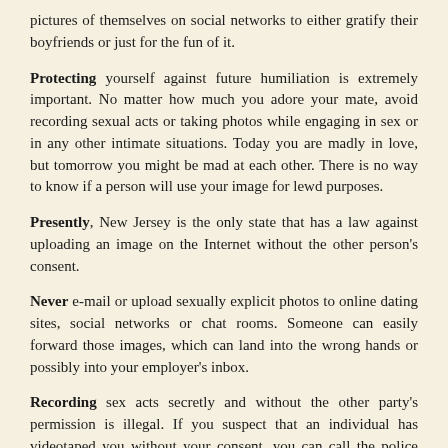pictures of themselves on social networks to either gratify their boyfriends or just for the fun of it.
Protecting yourself against future humiliation is extremely important. No matter how much you adore your mate, avoid recording sexual acts or taking photos while engaging in sex or in any other intimate situations. Today you are madly in love, but tomorrow you might be mad at each other. There is no way to know if a person will use your image for lewd purposes.
Presently, New Jersey is the only state that has a law against uploading an image on the Internet without the other person’s consent.
Never e-mail or upload sexually explicit photos to online dating sites, social networks or chat rooms. Someone can easily forward those images, which can land into the wrong hands or possibly into your employer’s inbox.
Recording sex acts secretly and without the other party’s permission is illegal. If you suspect that an individual has videotaped you without your consent, you can call the police and